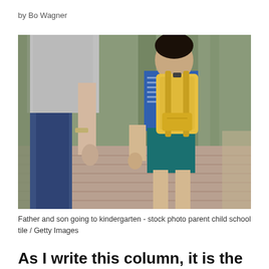by Bo Wagner
[Figure (photo): A father and young boy with a yellow backpack walking hand in hand on a brick pathway, viewed from behind. The child is wearing a blue striped shirt and teal shorts. Trees line the path in the background.]
Father and son going to kindergarten - stock photo parent child school tile / Getty Images
As I write this column, it is the 78th